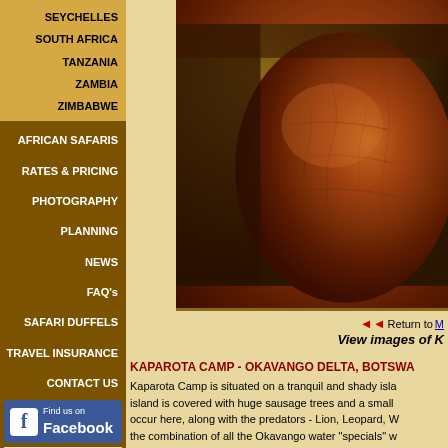SEYCHELLES
SOUTH AFRICA
TANZANIA
ZAMBIA
ZIMBABWE
AFRICAN SAFARIS
RATES & PRICING
PHOTOGRAPHY
PLANNING
NEWS
FAQ's
SAFARI DUFFELS
TRAVEL INSURANCE
CONTACT US
[Figure (photo): Close-up photo of an elephant's body/skin in warm orange-brown tones, likely taken at sunset in the Okavango Delta, Botswana]
◄◄ Return to M
View images of K
KAPAROTA CAMP - OKAVANGO DELTA, BOTSWANA
Kaparota Camp is situated on a tranquil and shady island is covered with huge sausage trees and a small occur here, along with the predators - Lion, Leopard, W the combination of all the Okavango water "specials" w